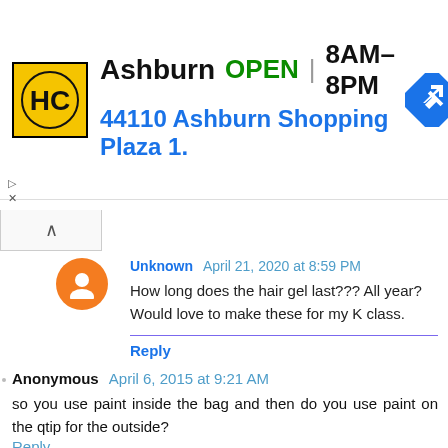[Figure (screenshot): Ad banner for Haircut 100 (HC) store in Ashburn showing logo, OPEN status, hours 8AM-8PM, address 44110 Ashburn Shopping Plaza 1., and navigation arrow icon]
Unknown April 21, 2020 at 8:59 PM
How long does the hair gel last??? All year? Would love to make these for my K class.
Reply
Anonymous April 6, 2015 at 9:21 AM
so you use paint inside the bag and then do you use paint on the qtip for the outside?
Reply